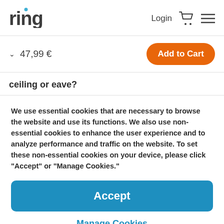ring  Login  [cart icon]  [menu icon]
47,99 €  Add to Cart
ceiling or eave?
We use essential cookies that are necessary to browse the website and use its functions. We also use non-essential cookies to enhance the user experience and to analyze performance and traffic on the website. To set these non-essential cookies on your device, please click "Accept" or "Manage Cookies."
Accept
Manage Cookies